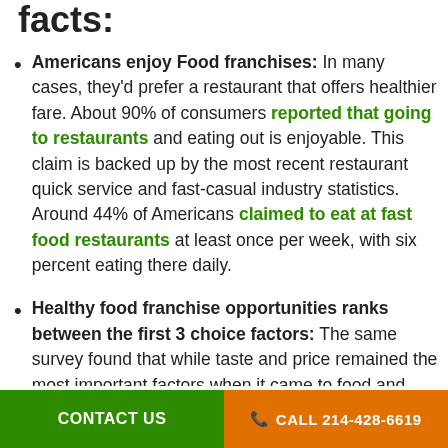facts:
Americans enjoy Food franchises: In many cases, they'd prefer a restaurant that offers healthier fare. About 90% of consumers reported that going to restaurants and eating out is enjoyable. This claim is backed up by the most recent restaurant quick service and fast-casual industry statistics. Around 44% of Americans claimed to eat at fast food restaurants at least once per week, with six percent eating there daily.
Healthy food franchise opportunities ranks between the first 3 choice factors: The same survey found that while taste and price remained the most important factors when it came to food and beverage decision making, healthfulness came third with consumers ranking it above convenience and sustainability, meaning that the demand for healthy food franchise opportunities is higher than ever.
Healthy Food franchises are a growing trend: A
CONTACT US   CALL 214-428-6619